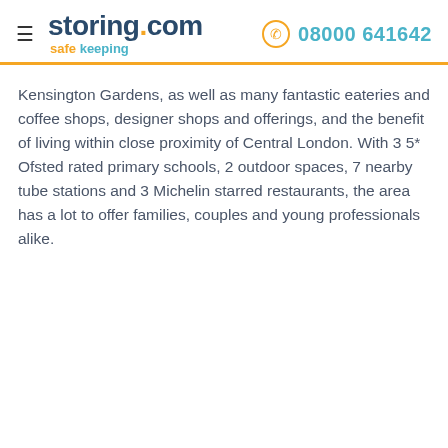storing.com safe keeping | 08000 641642
Kensington Gardens, as well as many fantastic eateries and coffee shops, designer shops and offerings, and the benefit of living within close proximity of Central London. With 3 5* Ofsted rated primary schools, 2 outdoor spaces, 7 nearby tube stations and 3 Michelin starred restaurants, the area has a lot to offer families, couples and young professionals alike.